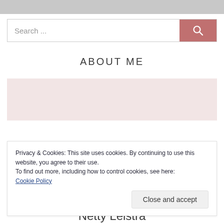[Figure (other): Gray bar at top of page]
Search ...
ABOUT ME
[Figure (other): Pink/rose colored image placeholder box]
Privacy & Cookies: This site uses cookies. By continuing to use this website, you agree to their use.
To find out more, including how to control cookies, see here:
Cookie Policy
Close and accept
Netty Leistra